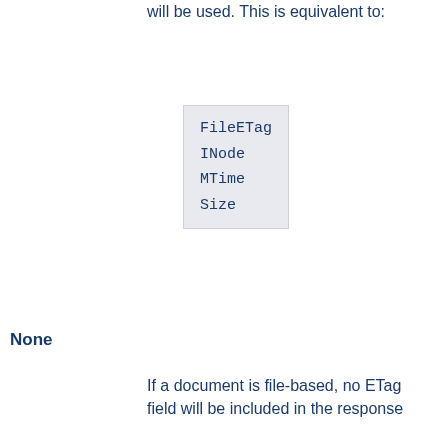will be used. This is equivalent to:
FileETag
INode
MTime
Size
None
If a document is file-based, no ETag field will be included in the response
The INode, MTime, and Size keywords may be prefixed with either + or -, which allow changes to be made to the default setting inherited from a broader scope. Any keyword appearing without such a prefix immediately and